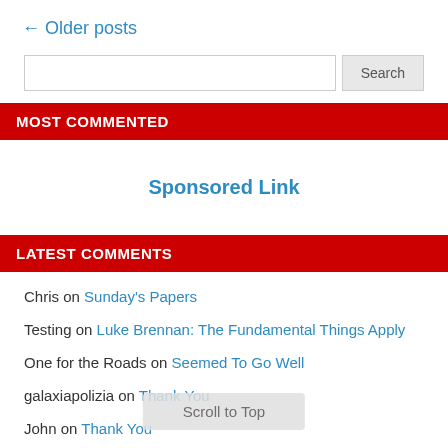← Older posts
Search
MOST COMMENTED
Sponsored Link
LATEST COMMENTS
Chris on Sunday's Papers
Testing on Luke Brennan: The Fundamental Things Apply
One for the Roads on Seemed To Go Well
galaxiapolizia on Thank You
John on Thank You
T'was me all along on Thank You
Scroll to Top